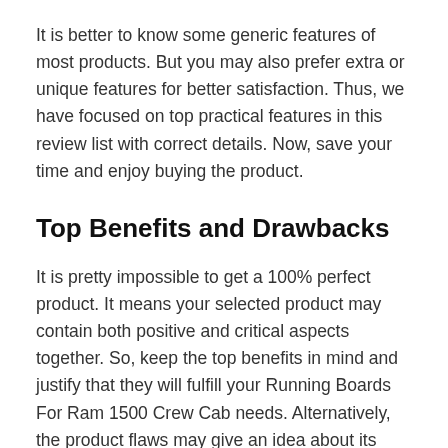It is better to know some generic features of most products. But you may also prefer extra or unique features for better satisfaction. Thus, we have focused on top practical features in this review list with correct details. Now, save your time and enjoy buying the product.
Top Benefits and Drawbacks
It is pretty impossible to get a 100% perfect product. It means your selected product may contain both positive and critical aspects together. So, keep the top benefits in mind and justify that they will fulfill your Running Boards For Ram 1500 Crew Cab needs. Alternatively, the product flaws may give an idea about its value for money in real-